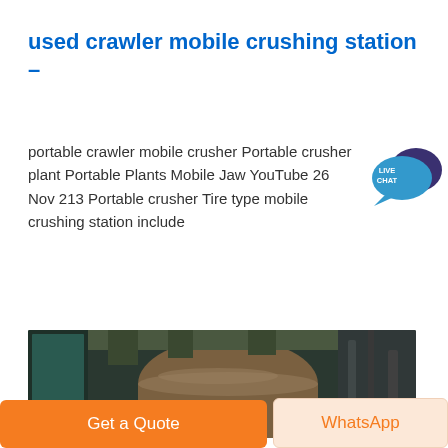used crawler mobile crushing station –
portable crawler mobile crusher Portable crusher plant Portable Plants Mobile Jaw YouTube 26 Nov 213 Portable crusher Tire type mobile crushing station include
[Figure (photo): Industrial machinery interior showing mechanical equipment, tanks and ductwork in dark tones]
Get a Quote
WhatsApp